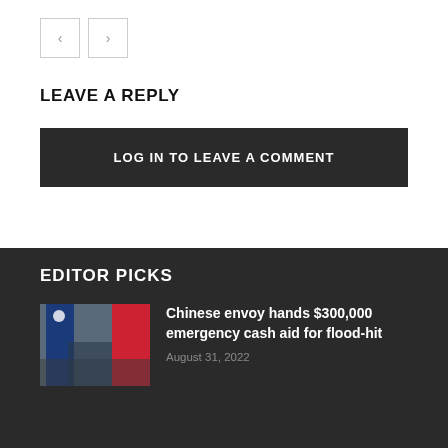[Figure (other): Navigation previous and next arrow buttons]
LEAVE A REPLY
LOG IN TO LEAVE A COMMENT
EDITOR PICKS
[Figure (photo): Photo of Chinese envoy with flags]
Chinese envoy hands $300,000 emergency cash aid for flood-hit
August 31, 2022